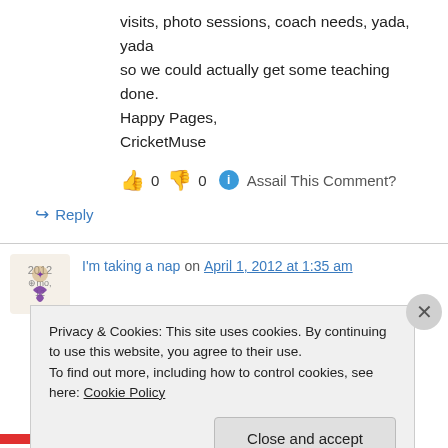visits, photo sessions, coach needs, yada, yada so we could actually get some teaching done. Happy Pages, CricketMuse
👍 0 👎 0 ℹ Assail This Comment?
↪ Reply
I'm taking a nap on April 1, 2012 at 1:35 am
Some children DESPERATELY need this quiet
Privacy & Cookies: This site uses cookies. By continuing to use this website, you agree to their use.
To find out more, including how to control cookies, see here: Cookie Policy
Close and accept